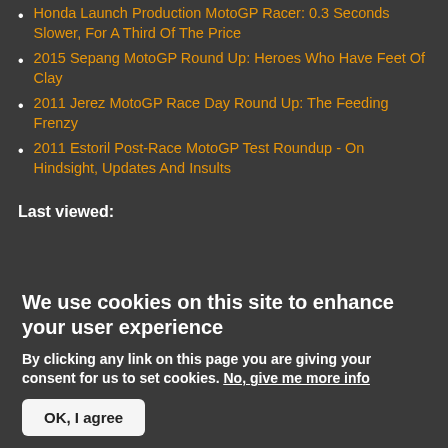Honda Launch Production MotoGP Racer: 0.3 Seconds Slower, For A Third Of The Price
2015 Sepang MotoGP Round Up: Heroes Who Have Feet Of Clay
2011 Jerez MotoGP Race Day Round Up: The Feeding Frenzy
2011 Estoril Post-Race MotoGP Test Roundup - On Hindsight, Updates And Insults
Last viewed:
We use cookies on this site to enhance your user experience
By clicking any link on this page you are giving your consent for us to set cookies. No, give me more info
OK, I agree